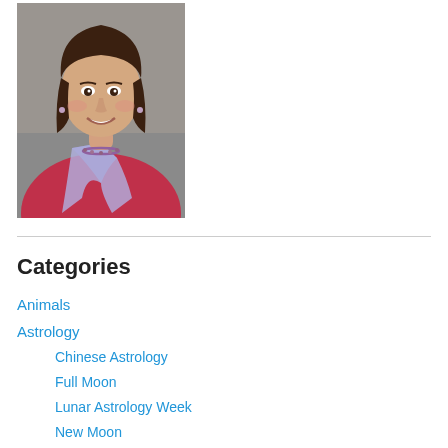[Figure (photo): Portrait photo of a smiling woman with brown hair, wearing a red/pink top and floral scarf with a beaded necklace, photographed against a gray background.]
Categories
Animals
Astrology
Chinese Astrology
Full Moon
Lunar Astrology Week
New Moon